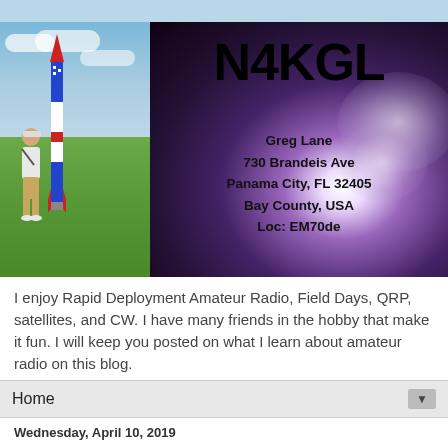[Figure (photo): QSL card image split into two panels: left panel shows a man standing next to a tall rocket on a grass field with cloudy sky; right panel shows the amateur radio callsign N4KGL in large bold text with contact information: Greg Lane, 730 Brandeis Ave, Panama City, FL 32405, Bay County, USA, Loc: EM70de, overlaid on a dark smoky/launch background.]
I enjoy Rapid Deployment Amateur Radio, Field Days, QRP, satellites, and CW. I have many friends in the hobby that make it fun. I will keep you posted on what I learn about amateur radio on this blog.
Home
Wednesday, April 10, 2019